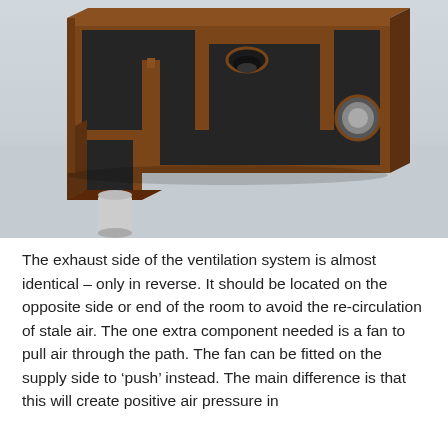[Figure (illustration): 3D isometric rendering of a ventilation system box/enclosure with wooden frame (brown), dark interior chambers, internal partitions, two vertical column elements, a circular duct opening on the right side, another circular duct at the bottom left, and a cylindrical pipe extending downward from the bottom.]
The exhaust side of the ventilation system is almost identical – only in reverse. It should be located on the opposite side or end of the room to avoid the re-circulation of stale air. The one extra component needed is a fan to pull air through the path. The fan can be fitted on the supply side to 'push' instead. The main difference is that this will create positive air pressure in